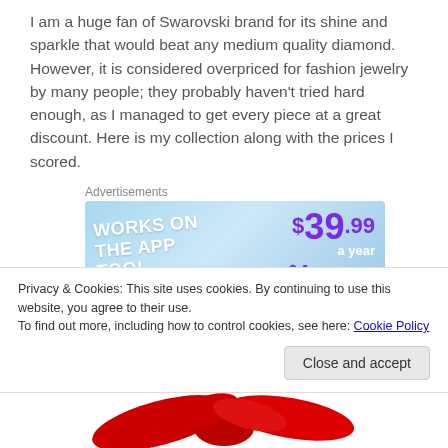I am a huge fan of Swarovski brand for its shine and sparkle that would beat any medium quality diamond. However, it is considered overpriced for fashion jewelry by many people; they probably haven't tried hard enough, as I managed to get every piece at a great discount. Here is my collection along with the prices I scored.
[Figure (other): Advertisement banner showing '$39.99 a year or $4.99 a month + FREE SHIPPING, WORKS ON THE APP TOO!' with blue background, yellow stars, and purple/white decorative shapes.]
Privacy & Cookies: This site uses cookies. By continuing to use this website, you agree to their use.
To find out more, including how to control cookies, see here: Cookie Policy
Close and accept